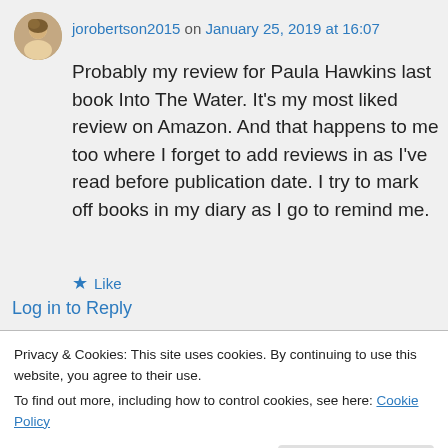jorobertson2015 on January 25, 2019 at 16:07
Probably my review for Paula Hawkins last book Into The Water. It's my most liked review on Amazon. And that happens to me too where I forget to add reviews in as I've read before publication date. I try to mark off books in my diary as I go to remind me.
★ Like
Log in to Reply
Privacy & Cookies: This site uses cookies. By continuing to use this website, you agree to their use.
To find out more, including how to control cookies, see here: Cookie Policy
Close and accept
as me. We also share similar taste in books